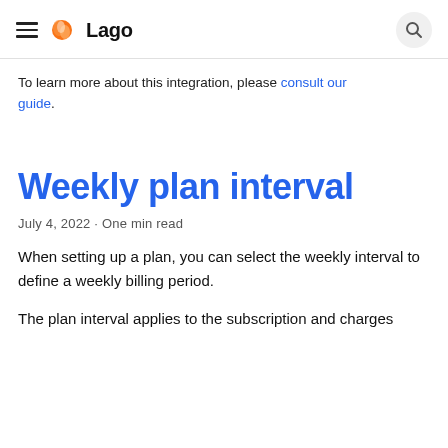Lago
To learn more about this integration, please consult our guide.
Weekly plan interval
July 4, 2022 · One min read
When setting up a plan, you can select the weekly interval to define a weekly billing period.
The plan interval applies to the subscription and charges